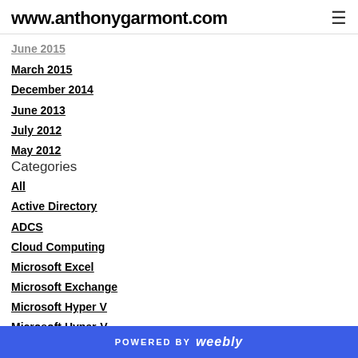www.anthonygarmont.com
June 2015
March 2015
December 2014
June 2013
July 2012
May 2012
Categories
All
Active Directory
ADCS
Cloud Computing
Microsoft Excel
Microsoft Exchange
Microsoft Hyper V
Microsoft Hyper-V
POWERED BY weebly